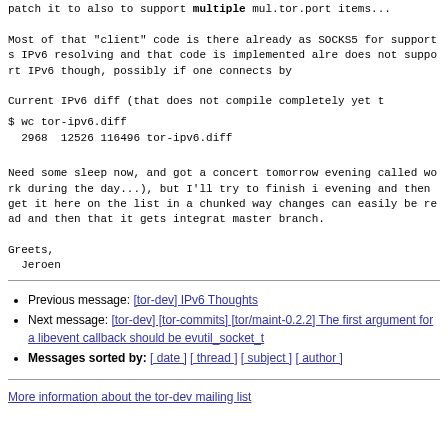patch it to also to support multiple mul.tor.port items...
Most of that "client" code is there already as SOCKS5 for supports IPv6 resolving and that code is implemented alre does not support IPv6 though, possibly if one connects by
Current IPv6 diff (that does not compile completely yet t
$ wc tor-ipv6.diff
  2968  12526 116496 tor-ipv6.diff
Need some sleep now, and got a concert tomorrow evening called work during the day...), but I'll try to finish i evening and then get it here on the list in a chunked way changes can easily be read and then that it gets integrat master branch.
Greets,
  Jeroen
Previous message: [tor-dev] IPv6 Thoughts
Next message: [tor-dev] [tor-commits] [tor/maint-0.2.2] The first argument for a libevent callback should be evutil_socket_t
Messages sorted by: [ date ] [ thread ] [ subject ] [ author ]
More information about the tor-dev mailing list